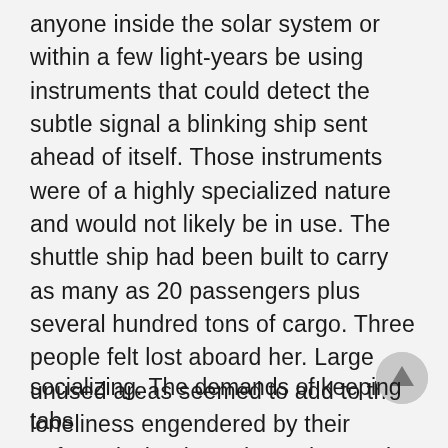anyone inside the solar system or within a few light-years be using instruments that could detect the subtle signal a blinking ship sent ahead of itself. Those instruments were of a highly specialized nature and would not likely be in use. The shuttle ship had been built to carry as many as 20 passengers plus several hundred tons of cargo. Three people felt lost aboard her. Large unused areas seemed to add to the loneliness engendered by their enforced wheel watches. They took four-hour shifts. Heath spent some of his non-watch time making final checks of the equipment. There was little
socializing. The demands of keeping tabs